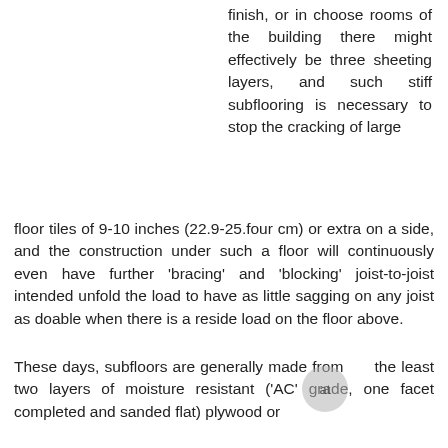finish, or in choose rooms of the building there might effectively be three sheeting layers, and such stiff subflooring is necessary to stop the cracking of large floor tiles of 9-10 inches (22.9-25.four cm) or extra on a side, and the construction under such a floor will continuously even have further 'bracing' and 'blocking' joist-to-joist intended unfold the load to have as little sagging on any joist as doable when there is a reside load on the floor above.
These days, subfloors are generally made from at the least two layers of moisture resistant ('AC' grade, one facet completed and sanded flat) plywood or